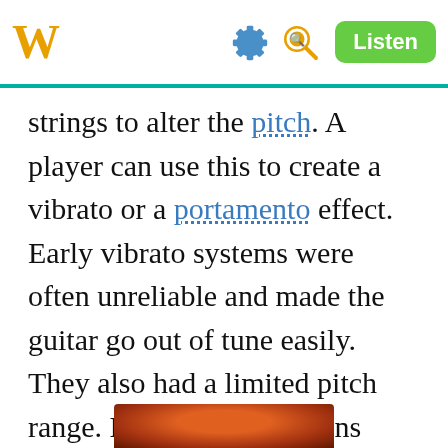W [settings icon] [search icon] Listen
strings to alter the pitch. A player can use this to create a vibrato or a portamento effect. Early vibrato systems were often unreliable and made the guitar go out of tune easily. They also had a limited pitch range. Later Fender designs were better, but Fender held the patent on these, so other companies used older designs for many years.
[Figure (photo): Partial view of a reddish-brown guitar body at the bottom of the page]